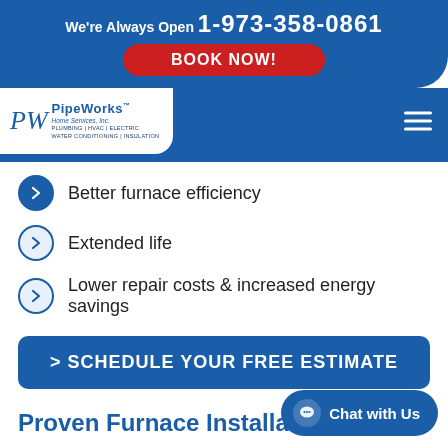We're Always Open 1-973-358-0861 BOOK NOW!
[Figure (logo): PipeWorks Home Services, Inc. logo — plumbing, HVAC, electric, water conditioning, insulation]
Better furnace efficiency
Extended life
Lower repair costs & increased energy savings
> SCHEDULE YOUR FREE ESTIMATE
Proven Furnace Installation Experts
If your furnace is old or your bills seem too high